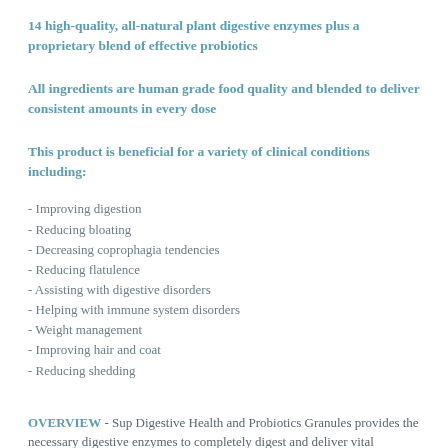14 high-quality, all-natural plant digestive enzymes plus a proprietary blend of effective probiotics
All ingredients are human grade food quality and blended to deliver consistent amounts in every dose
This product is beneficial for a variety of clinical conditions including:
- Improving digestion
- Reducing bloating
- Decreasing coprophagia tendencies
- Reducing flatulence
- Assisting with digestive disorders
- Helping with immune system disorders
- Weight management
- Improving hair and coat
- Reducing shedding
OVERVIEW - Sup Digestive Health and Probiotics Granules provides the necessary digestive enzymes to completely digest and deliver vital nutrients in a pet's daily diet. In addition